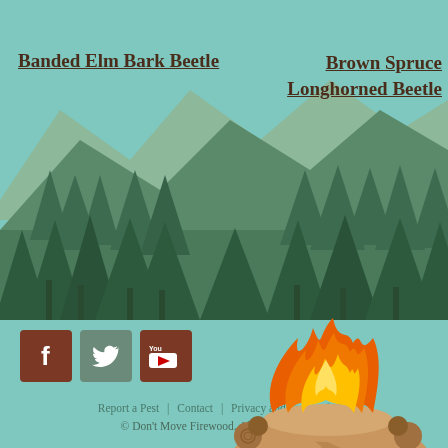[Figure (illustration): Forest/mountain landscape banner with green pine trees and layered mountain silhouettes on a teal background]
Banded Elm Bark Beetle
Brown Spruce Longhorned Beetle
[Figure (illustration): Social media icons: Facebook (brown square with f), Twitter (green square with bird), YouTube (brown square with YouTube logo)]
Report a Pest | Contact | Privacy and Terms of Use
© Don't Move Firewood. All rights reserved.
[Figure (illustration): Campfire illustration with orange and yellow flames over stacked logs]